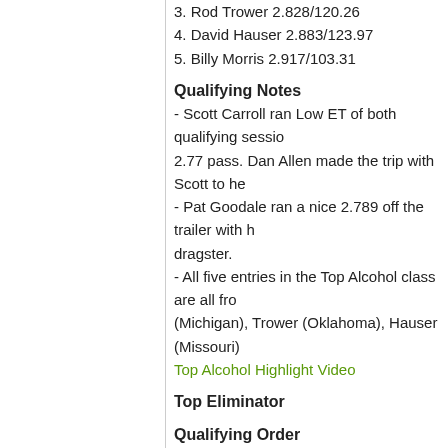3. Rod Trower 2.828/120.26
4. David Hauser 2.883/123.97
5. Billy Morris 2.917/103.31
Qualifying Notes
- Scott Carroll ran Low ET of both qualifying sessions with a 2.77 pass. Dan Allen made the trip with Scott to help out.
- Pat Goodale ran a nice 2.789 off the trailer with his dragster.
- All five entries in the Top Alcohol class are all from different states. Carroll (Michigan), Trower (Oklahoma), Hauser (Missouri)
Top Alcohol Highlight Video
Top Eliminator
Qualifying Order
1. Mark Punos 2.991
2. Joyce Risher 3.070
3. Dee Trower 3.138
4. Terry Glasscock 3.211
5. Terry Crawford 3.331
6. Kenny Kapple NT
Qualifying Notes
- Mark Punos made an impressive off the trailer 2.
- Joyce Risher set the best pass of session two wi